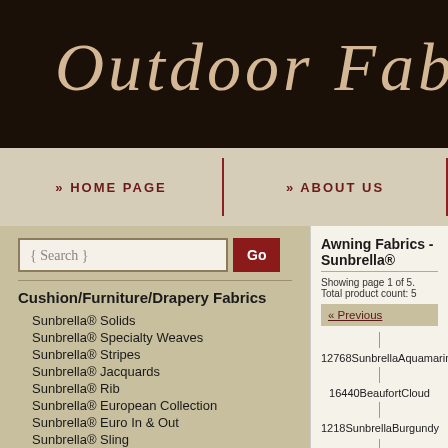Outdoor Fab
» HOME PAGE
» ABOUT US
{ Search }
Cushion/Furniture/Drapery Fabrics
Sunbrella® Solids
Sunbrella® Specialty Weaves
Sunbrella® Stripes
Sunbrella® Jacquards
Sunbrella® Rib
Sunbrella® European Collection
Sunbrella® Euro In & Out
Sunbrella® Sling
Bella-Dura Textures
Bella-Dura Stripes
Bella-Dura Jacquards
Awning Fabrics - Sunbrella®
Showing page 1 of 5. Total product count: 5
« Previous
12768SunbrellaAquamarine
16440BeaufortCloud
1218SunbrellaBurgundy